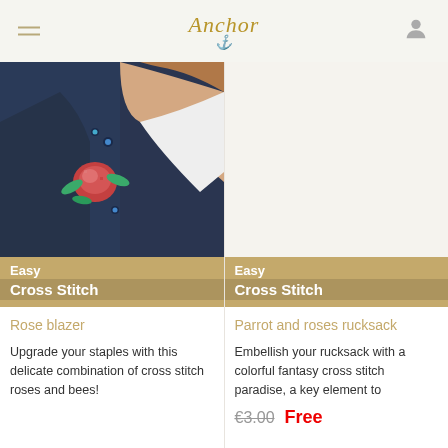Anchor
[Figure (photo): Photo of a woman wearing a navy blazer with a cross stitch rose and bees embroidery on the lapel]
Easy Cross Stitch
Rose blazer
Upgrade your staples with this delicate combination of cross stitch roses and bees!
[Figure (photo): White/blank product image placeholder for parrot and roses rucksack]
Easy Cross Stitch
Parrot and roses rucksack
Embellish your rucksack with a colorful fantasy cross stitch paradise, a key element to
€3.00   Free